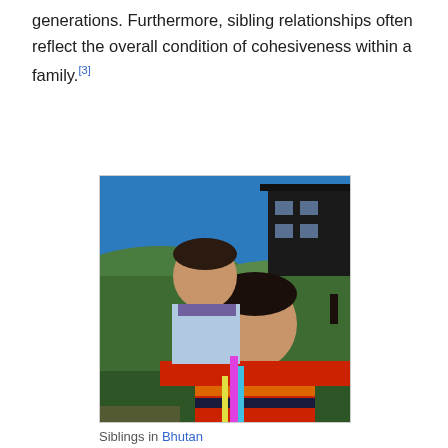generations. Furthermore, sibling relationships often reflect the overall condition of cohesiveness within a family.[3]
[Figure (photo): Photograph of two children in Bhutan. An older child carries a younger child on their back outdoors, with green hills and a traditional building in the background under a blue sky.]
Siblings in Bhutan